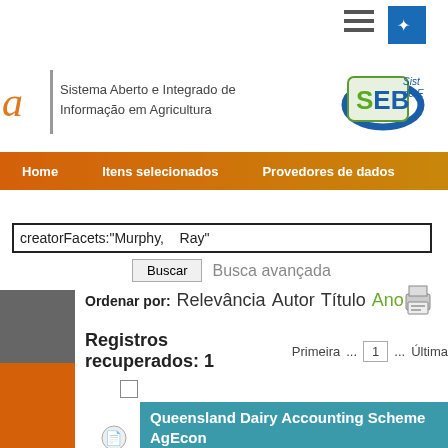[Figure (screenshot): Website header with hamburger menu and blue icon button in top bar]
Sistema Aberto e Integrado de Informação em Agricultura
[Figure (logo): SEB logo with circular swoosh and green/blue letters]
Home   Itens selecionados   Provedores de dados
creatorFacets:"Murphy,    Ray"
Buscar   Busca avançada
Ordenar por:  Relevância  Autor  Título  Ano
Registros recuperados: 1   Primeira  ...  1  ...  Última
Queensland Dairy Accounting Scheme    AgEcon 2004 Results and Analysis
Murphy, Ray; Busby, Graeme.
This paper provides an overview of the operation of the Queensland Dairy Accounting Scheme (QDAS) and the results and analysis of the 2003-04